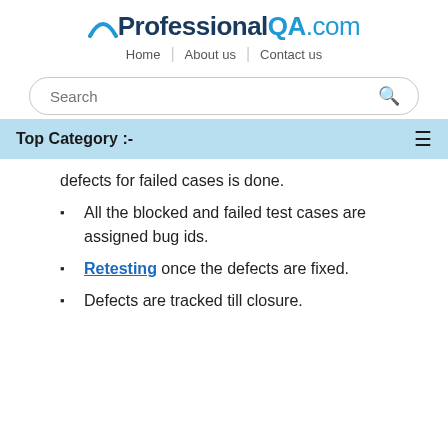ProfessionalQA.com — Home | About us | Contact us
[Figure (screenshot): Search bar with rounded border and blue search icon]
Top Category :-
defects for failed cases is done.
All the blocked and failed test cases are assigned bug ids.
Retesting once the defects are fixed.
Defects are tracked till closure.